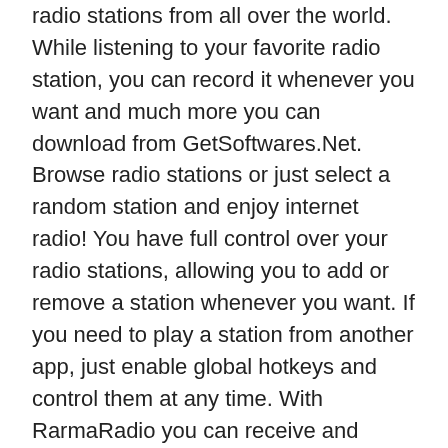radio stations from all over the world. While listening to your favorite radio station, you can record it whenever you want and much more you can download from GetSoftwares.Net. Browse radio stations or just select a random station and enjoy internet radio! You have full control over your radio stations, allowing you to add or remove a station whenever you want. If you need to play a station from another app, just enable global hotkeys and control them at any time. With RarmaRadio you can receive and record thousands of radio stations available on the Internet.
RarmaRadio Pro Full Version is an internet radio player and recorder that allows you to listen to your favorite online radio station from around the world. It offers a wide variety of stations organized by genre and country